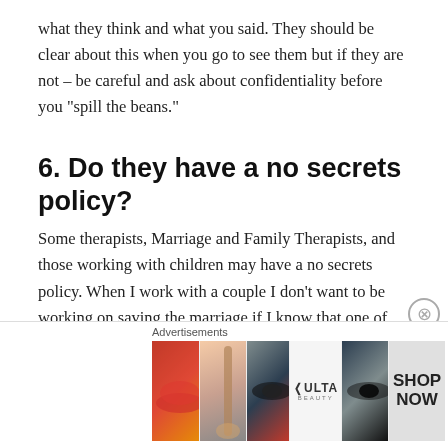what they think and what you said. They should be clear about this when you go to see them but if they are not – be careful and ask about confidentiality before you “spill the beans.”
6. Do they have a no secrets policy?
Some therapists, Marriage and Family Therapists, and those working with children may have a no secrets policy. When I work with a couple I don’t want to be working on saving the marriage if I know that one of the parties is having an affair. I might tell both parties that I can’t keep secrets from the other partner if we are to work on
[Figure (advertisement): Ulta Beauty advertisement banner with photos of makeup, eyes, and lips, with SHOP NOW text]